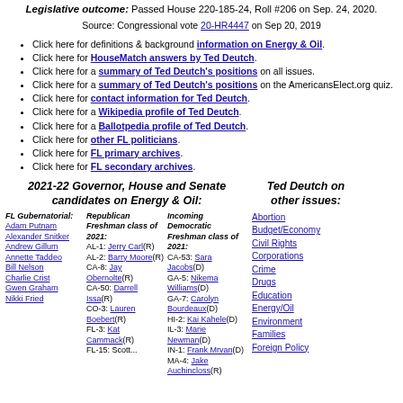Legislative outcome: Passed House 220-185-24, Roll #206 on Sep. 24, 2020.
Source: Congressional vote 20-HR4447 on Sep 20, 2019
Click here for definitions & background information on Energy & Oil.
Click here for HouseMatch answers by Ted Deutch.
Click here for a summary of Ted Deutch's positions on all issues.
Click here for a summary of Ted Deutch's positions on the AmericansElect.org quiz.
Click here for contact information for Ted Deutch.
Click here for a Wikipedia profile of Ted Deutch.
Click here for a Ballotpedia profile of Ted Deutch.
Click here for other FL politicians.
Click here for FL primary archives.
Click here for FL secondary archives.
2021-22 Governor, House and Senate candidates on Energy & Oil:
Ted Deutch on other issues:
FL Gubernatorial: Adam Putnam, Alexander Snitker, Andrew Gillum, Annette Taddeo, Bill Nelson, Charlie Crist, Gwen Graham, Nikki Fried
Republican Freshman class of 2021: AL-1: Jerry Carl(R), AL-2: Barry Moore(R), CA-8: Jay Obernolte(R), CA-50: Darrell Issa(R), CO-3: Lauren Boebert(R), FL-3: Kat Cammack(R), FL-15: Scott...
Incoming Democratic Freshman class of 2021: CA-53: Sara Jacobs(D), GA-5: Nikema Williams(D), GA-7: Carolyn Bourdeaux(D), HI-2: Kai Kahele(D), IL-3: Marie Newman(D), IN-1: Frank Mrvan(D), MA-4: Jake Auchincloss(R)
Abortion, Budget/Economy, Civil Rights, Corporations, Crime, Drugs, Education, Energy/Oil, Environment, Families, Foreign Policy